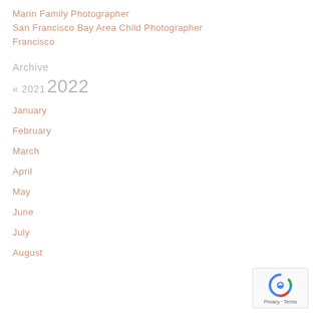Marin Family Photographer
San Francisco Bay Area Child Photographer
Francisco
Archive
« 2021  2022
January
February
March
April
May
June
July
August